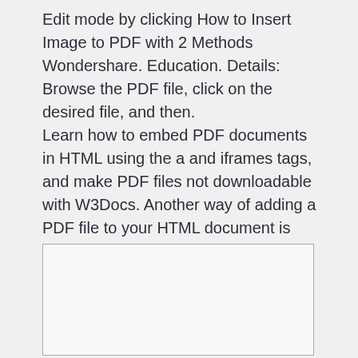Edit mode by clicking How to Insert Image to PDF with 2 Methods Wondershare. Education. Details: Browse the PDF file, click on the desired file, and then.
Learn how to embed PDF documents in HTML using the a and iframes tags, and make PDF files not downloadable with W3Docs. Another way of adding a PDF file to your HTML document is using the
[Figure (screenshot): A blank white rectangle with a gray border, representing an embedded PDF viewer or iframe area.]